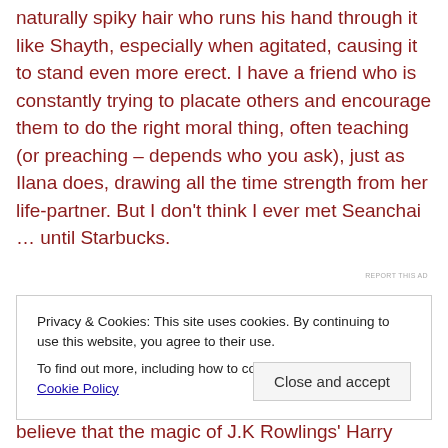naturally spiky hair who runs his hand through it like Shayth, especially when agitated, causing it to stand even more erect. I have a friend who is constantly trying to placate others and encourage them to do the right moral thing, often teaching (or preaching – depends who you ask), just as Ilana does, drawing all the time strength from her life-partner. But I don't think I ever met Seanchai … until Starbucks.
REPORT THIS AD
Privacy & Cookies: This site uses cookies. By continuing to use this website, you agree to their use.
To find out more, including how to control cookies, see here: Cookie Policy
Close and accept
believe that the magic of J.K Rowlings' Harry Potter series,